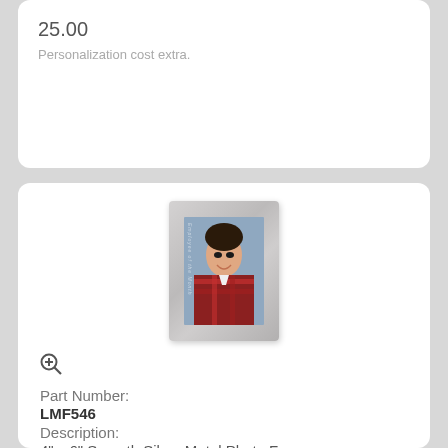25.00
Personalization cost extra.
[Figure (photo): Silver metal photo frame (4x6) displaying a smiling young man in a plaid shirt]
Part Number:
LMF546
Description:
4" x 6" Smooth Silver Metal Photo Frame
Size:
5 3/4" x 7 3/4"
Price:
15.00
Personalization cost extra.